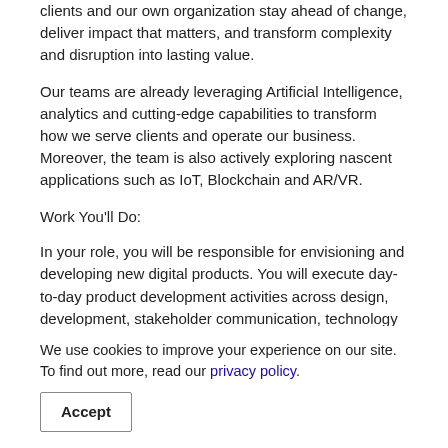clients and our own organization stay ahead of change, deliver impact that matters, and transform complexity and disruption into lasting value.
Our teams are already leveraging Artificial Intelligence, analytics and cutting-edge capabilities to transform how we serve clients and operate our business. Moreover, the team is also actively exploring nascent applications such as IoT, Blockchain and AR/VR.
Work You'll Do:
In your role, you will be responsible for envisioning and developing new digital products. You will execute day-to-day product development activities across design, development, stakeholder communication, technology vendor management and delivery.
Responsibilities:
Designs long-term, reliable, and end-to-end technical architectures. Develop functional architecture design and contribute to product vision
Assist client and team to design procurement solutions using cutting edge technologies including Java, Cloud and related areas
Ability to do configuration, development and support duties for
We use cookies to improve your experience on our site. To find out more, read our privacy policy.